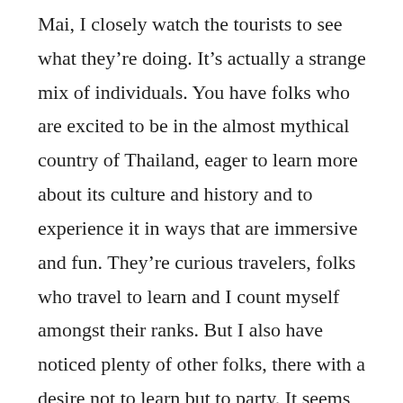Mai, I closely watch the tourists to see what they're doing. It's actually a strange mix of individuals. You have folks who are excited to be in the almost mythical country of Thailand, eager to learn more about its culture and history and to experience it in ways that are immersive and fun. They're curious travelers, folks who travel to learn and I count myself amongst their ranks. But I also have noticed plenty of other folks, there with a desire not to learn but to party. It seems odd to me that someone would travel around the world to buy a slightly cheaper beer, but there they are, embarrassing themselves and their countries in ways they'd never dream of doing at home. I didn't see that in Myanmar, although I'm sure it must exist in some degree. But on